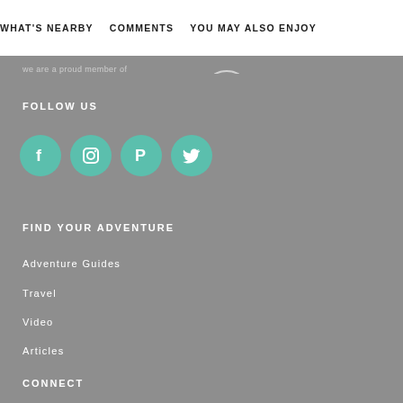WHAT'S NEARBY   COMMENTS   YOU MAY ALSO ENJOY
we are a proud member of   Trace
FOLLOW US
[Figure (illustration): Social media icons: Facebook, Instagram, Pinterest, Twitter — teal circular buttons]
FIND YOUR ADVENTURE
Adventure Guides
Travel
Video
Articles
CONNECT
Contact Us